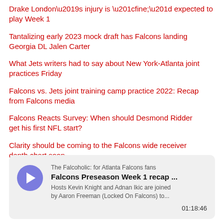Drake London’s injury is “fine;” expected to play Week 1
Tantalizing early 2023 mock draft has Falcons landing Georgia DL Jalen Carter
What Jets writers had to say about New York-Atlanta joint practices Friday
Falcons vs. Jets joint training camp practice 2022: Recap from Falcons media
Falcons Reacts Survey: When should Desmond Ridder get his first NFL start?
Clarity should be coming to the Falcons wide receiver depth chart soon
[Figure (other): Podcast player card for The Falcoholic: for Atlanta Falcons fans. Episode: Falcons Preseason Week 1 recap ... Description: Hosts Kevin Knight and Adnan Ikic are joined by Aaron Freeman (Locked On Falcons) to... Duration: 01:18:46]